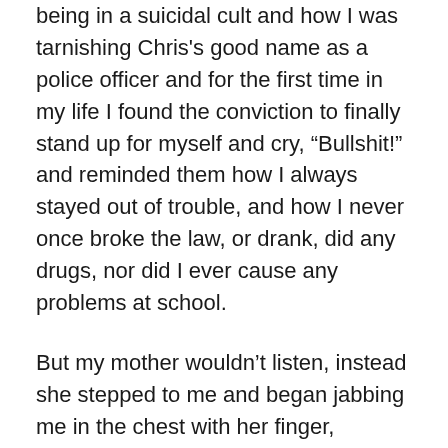being in a suicidal cult and how I was tarnishing Chris's good name as a police officer and for the first time in my life I found the conviction to finally stand up for myself and cry, “Bullshit!” and reminded them how I always stayed out of trouble, and how I never once broke the law, or drank, did any drugs, nor did I ever cause any problems at school.
But my mother wouldn’t listen, instead she stepped to me and began jabbing me in the chest with her finger, ordering me I was to call Matt, Steven and the others and tell them how I could no longer be friends with them. An act I couldn’t find more humiliating, or degrading, especially from all the times they’ve been there for me and so I stood my ground and defiantly told her no.
She hadn’t expected my answer and looked surprised, which quickly gave way to anger and she began...